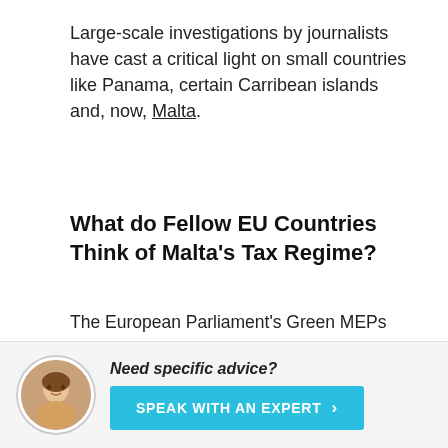Large-scale investigations by journalists have cast a critical light on small countries like Panama, certain Carribean islands and, now, Malta.
What do Fellow EU Countries Think of Malta's Tax Regime?
The European Parliament's Green MEPs had a report commissioned that found that the tax system in Malta helped corporations avoid €14-billion in taxes between 2012 and 2015. Specifically, that money would otherwise have gone into European government coffers.
[Figure (photo): Partial photo strip visible at bottom of article section]
[Figure (photo): CTA section with circular avatar photo of a woman and a teal 'Speak with an Expert' button]
Need specific advice?
SPEAK WITH AN EXPERT >